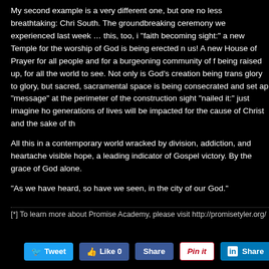My second example is a very different one, but one no less breathtaking: Chris South. The groundbreaking ceremony we experienced last week … this, too, is "faith becoming sight:" a new Temple for the worship of God is being erected near us! A new House of Prayer for all people and for a burgeoning community of f being raised up, for all the world to see. Not only is God's creation being trans glory to glory, but sacred, sacramental space is being consecrated and set ap "message" at the perimeter of the construction sight "nailed it:" just imagine h generations of lives will be impacted for the cause of Christ and the sake of th
All this in a contemporary world wracked by division, addiction, and heartache visible hope, a leading indicator of Gospel victory. By the grace of God alone.
“As we have heard, so have we seen, in the city of our God.”
[*] To learn more about Promise Academy, please visit http://promisetyler.org/
[Figure (other): Social sharing buttons: Tweet, Like 0, Share, Pin it, Share (LinkedIn)]